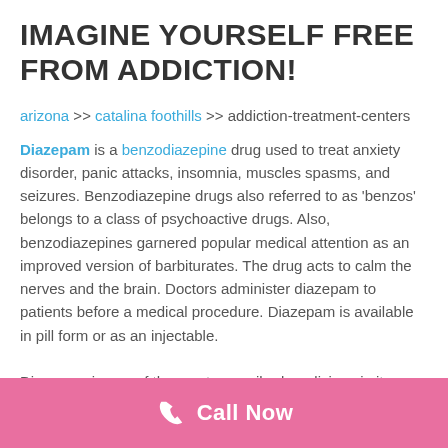IMAGINE YOURSELF FREE FROM ADDICTION!
arizona >> catalina foothills >> addiction-treatment-centers
Diazepam is a benzodiazepine drug used to treat anxiety disorder, panic attacks, insomnia, muscles spasms, and seizures. Benzodiazepine drugs also referred to as 'benzos' belongs to a class of psychoactive drugs. Also, benzodiazepines garnered popular medical attention as an improved version of barbiturates. The drug acts to calm the nerves and the brain. Doctors administer diazepam to patients before a medical procedure. Diazepam is available in pill form or as an injectable.
Call Now